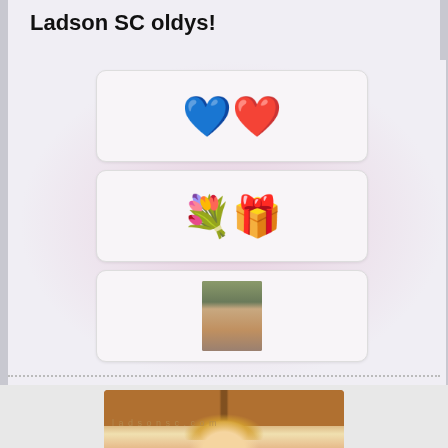Ladson SC oldys!
[Figure (illustration): Three rounded rectangular cards stacked vertically. First card contains heart balloon emoji (blue and red hearts). Second card contains a bouquet with bow emoji. Third card contains a small thumbnail photo of a person outdoors.]
[Figure (photo): Partial photo of a blonde woman smiling in a kitchen with wooden cabinets. A watermark text is overlaid on the image.]